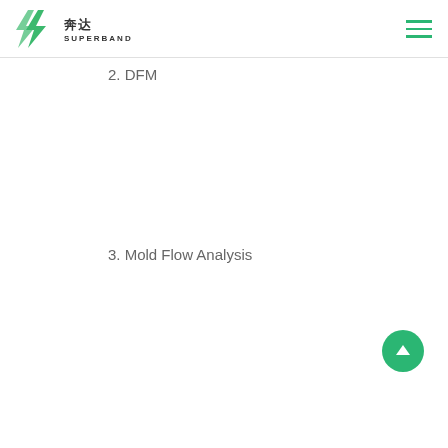奔达 SUPERBAND
2. DFM
3. Mold Flow Analysis